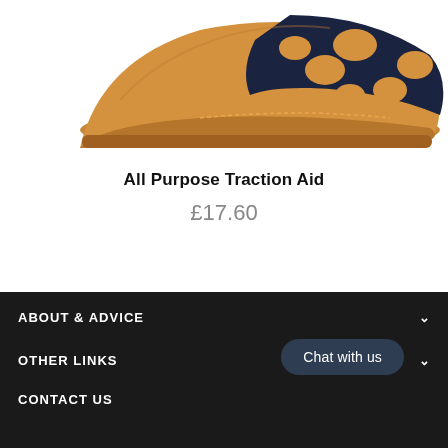[Figure (photo): Partial product photo showing the front/top portion of a tan/brown leather shoe or boot with dark navy cutout overlay pattern on the toe area, on a white background]
All Purpose Traction Aid
£17.60
ABOUT & ADVICE
OTHER LINKS
CONTACT US